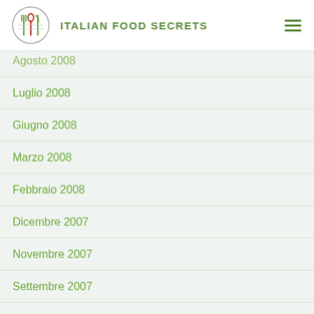ITALIAN FOOD SECRETS
Agosto 2008
Luglio 2008
Giugno 2008
Marzo 2008
Febbraio 2008
Dicembre 2007
Novembre 2007
Settembre 2007
Agosto 2007